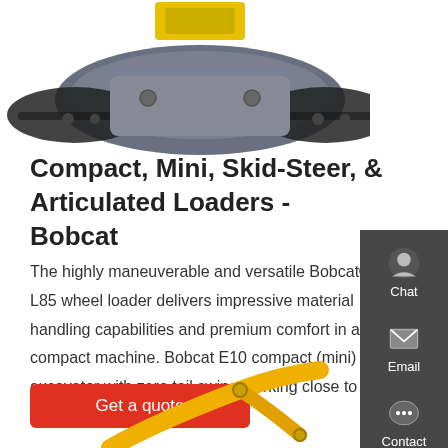[Figure (photo): Top-down view of a Bobcat tracked compact loader/excavator machine, yellow cab visible at top, dark grey/black rubber tracks forming a wide triangular base]
Compact, Mini, Skid-Steer, & Articulated Loaders - Bobcat
The highly maneuverable and versatile Bobcat® L85 wheel loader delivers impressive material handling capabilities and premium comfort in a compact machine. Bobcat E10 compact (mini) excavator with zero tail swing working close to the foundation of a house. The …
[Figure (illustration): Red 'Get a quote' call-to-action button]
[Figure (screenshot): Right side panel with dark grey background showing Chat, Email, and Contact icons]
[Figure (photo): Bottom portion of a yellow Bobcat excavator arm/boom visible at the bottom of the page]